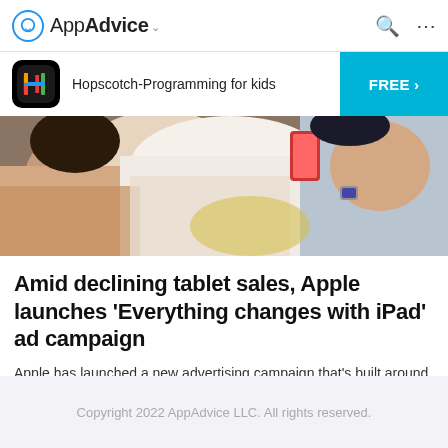AppAdvice
[Figure (screenshot): App advertisement banner for Hopscotch-Programming for kids with app icon and FREE button]
[Figure (photo): Photo of people lying down using tablets/phones]
Amid declining tablet sales, Apple launches 'Everything changes with iPad' ad campaign
Apple has launched a new advertising campaign that's built around the tagline, “Everything changes with iPad.”
Aldrin Calimlim   May 7
Copyright 2022 AppAdvice LLC. All rights reserved.